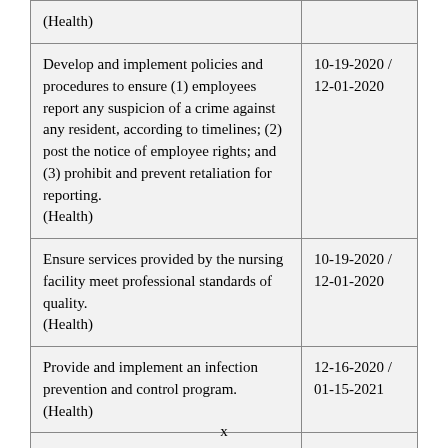| (Health) |  |
| Develop and implement policies and procedures to ensure (1) employees report any suspicion of a crime against any resident, according to timelines; (2) post the notice of employee rights; and (3) prohibit and prevent retaliation for reporting.
(Health) | 10-19-2020 /
12-01-2020 |
| Ensure services provided by the nursing facility meet professional standards of quality.
(Health) | 10-19-2020 /
12-01-2020 |
| Provide and implement an infection prevention and control program.
(Health) | 12-16-2020 /
01-15-2021 |
|  |  |
x